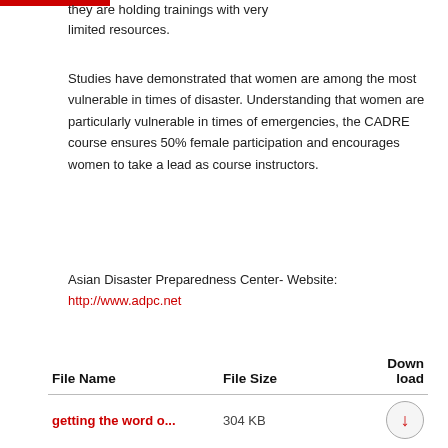they are holding trainings with very limited resources.
Studies have demonstrated that women are among the most vulnerable in times of disaster. Understanding that women are particularly vulnerable in times of emergencies, the CADRE course ensures 50% female participation and encourages women to take a lead as course instructors.
Asian Disaster Preparedness Center- Website: http://www.adpc.net
| File Name | File Size | Download |
| --- | --- | --- |
| getting the word o... | 304 KB | ↓ |